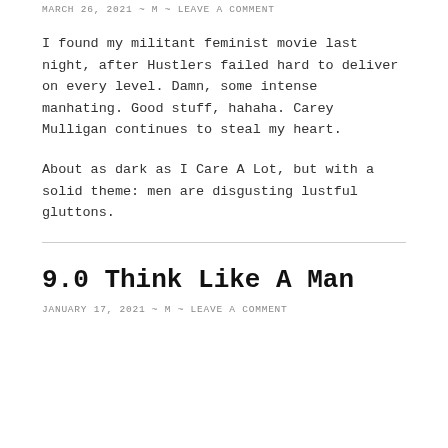MARCH 26, 2021 ~ M ~ LEAVE A COMMENT
I found my militant feminist movie last night, after Hustlers failed hard to deliver on every level. Damn, some intense manhating. Good stuff, hahaha. Carey Mulligan continues to steal my heart.
About as dark as I Care A Lot, but with a solid theme: men are disgusting lustful gluttons.
9.0 Think Like A Man
JANUARY 17, 2021 ~ M ~ LEAVE A COMMENT